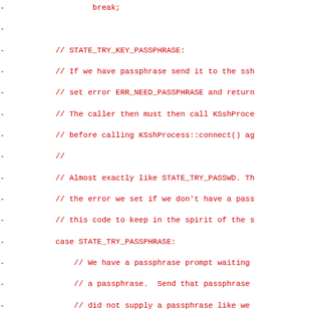[Figure (other): Source code diff showing removed lines (prefixed with '-') in red monospace font. Code is C++ dealing with SSH passphrase handling states including STATE_TRY_KEY_PASSPHRASE and STATE_TRY_PASSPHRASE, with comments and logic for password handling.]